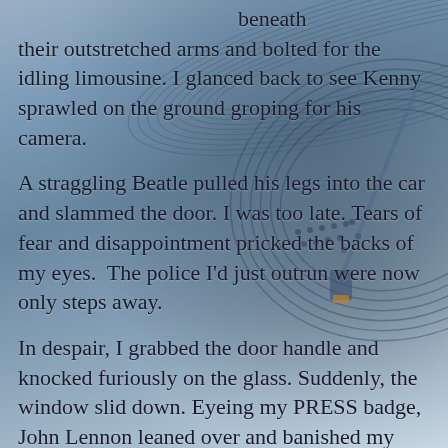[Figure (photo): Background photo of a vinyl record turntable with tonearm and needle, in blue-grey tones]
beneath their outstretched arms and bolted for the idling limousine. I glanced back to see Kenny sprawled on the ground groping for his camera.
A straggling Beatle pulled his legs into the car and slammed the door. I was too late. Tears of fear and disappointment pricked the backs of my eyes.  The police I'd just outrun were now only steps away.
In despair, I grabbed the door handle and knocked furiously on the glass. Suddenly, the window slid down. Eyeing my PRESS badge, John Lennon leaned over and banished my pursuers with a wave of his hand.
The police stepped away as I pulled out my list of questions.  "How do you like America?"  I